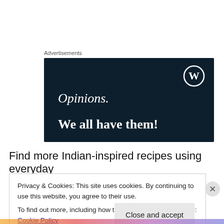Advertisements
[Figure (illustration): WordPress advertisement banner with dark navy background. Shows WordPress logo (W in circle) in top right. Text reads 'Opinions.' in italic serif and 'We all have them!' in bold serif, both in white.]
Find more Indian-inspired recipes using everyday
Privacy & Cookies: This site uses cookies. By continuing to use this website, you agree to their use.
To find out more, including how to control cookies, see here: Cookie Policy
Close and accept